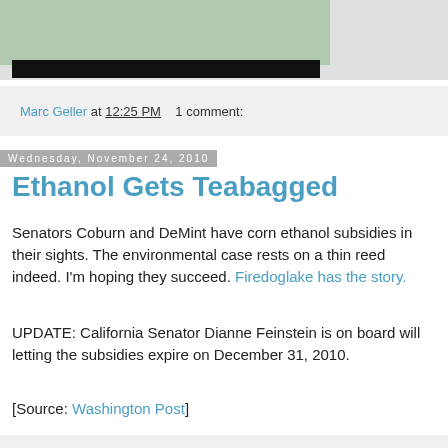[Figure (photo): Partial photo showing two people, one in blue clothing holding a plant, another in a striped shirt, with a black bar overlay at the bottom]
Marc Geller at 12:25 PM   1 comment:
Wednesday, November 24, 2010
Ethanol Gets Teabagged
Senators Coburn and DeMint have corn ethanol subsidies in their sights. The environmental case rests on a thin reed indeed. I'm hoping they succeed. Firedoglake has the story.
UPDATE: California Senator Dianne Feinstein is on board will letting the subsidies expire on December 31, 2010.
[Source: Washington Post]